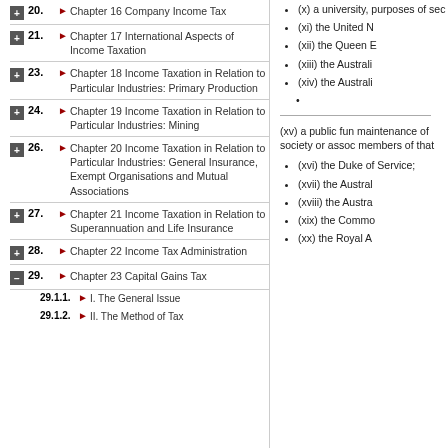20. Chapter 16 Company Income Tax
21. Chapter 17 International Aspects of Income Taxation
23. Chapter 18 Income Taxation in Relation to Particular Industries: Primary Production
24. Chapter 19 Income Taxation in Relation to Particular Industries: Mining
26. Chapter 20 Income Taxation in Relation to Particular Industries: General Insurance, Exempt Organisations and Mutual Associations
27. Chapter 21 Income Taxation in Relation to Superannuation and Life Insurance
28. Chapter 22 Income Tax Administration
29. Chapter 23 Capital Gains Tax
29.1.1. I. The General Issue
29.1.2. II. The Method of Tax
(x) a university, purposes of sec
(xi) the United N
(xii) the Queen E
(xiii) the Australi
(xiv) the Australi
(xv) a public fun maintenance of society or assoc members of that
(xvi) the Duke of Service;
(xvii) the Austral
(xviii) the Austra
(xix) the Commo
(xx) the Royal A